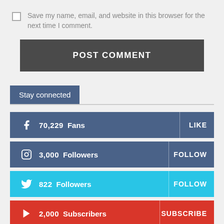Save my name, email, and website in this browser for the next time I comment.
POST COMMENT
Stay connected
70,229  Fans  LIKE
3,000  Followers  FOLLOW
822  Followers  FOLLOW
2,000  Subscribers  SUBSCRIBE